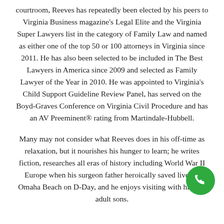courtroom, Reeves has repeatedly been elected by his peers to Virginia Business magazine's Legal Elite and the Virginia Super Lawyers list in the category of Family Law and named as either one of the top 50 or 100 attorneys in Virginia since 2011. He has also been selected to be included in The Best Lawyers in America since 2009 and selected as Family Lawyer of the Year in 2010. He was appointed to Virginia's Child Support Guideline Review Panel, has served on the Boyd-Graves Conference on Virginia Civil Procedure and has an AV Preeminent® rating from Martindale-Hubbell.
Many may not consider what Reeves does in his off-time as relaxation, but it nourishes his hunger to learn; he writes fiction, researches all eras of history including World War II Europe when his surgeon father heroically saved lives at Omaha Beach on D-Day, and he enjoys visiting with his two adult sons.
[Figure (other): Green circular phone call button in the bottom-right area of the page]